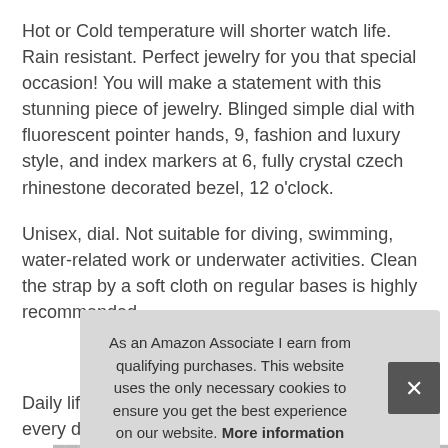Hot or Cold temperature will shorter watch life. Rain resistant. Perfect jewelry for you that special occasion! You will make a statement with this stunning piece of jewelry. Blinged simple dial with fluorescent pointer hands, 9, fashion and luxury style, and index markers at 6, fully crystal czech rhinestone decorated bezel, 12 o'clock.
Unisex, dial. Not suitable for diving, swimming, water-related work or underwater activities. Clean the strap by a soft cloth on regular bases is highly recommended.
More information #ad
Daily life water resistant up to 3 atm suitable for everyday use. Stai... bus...
Bes... colleague. It is good decoration on your hand. If you have any
As an Amazon Associate I earn from qualifying purchases. This website uses the only necessary cookies to ensure you get the best experience on our website. More information